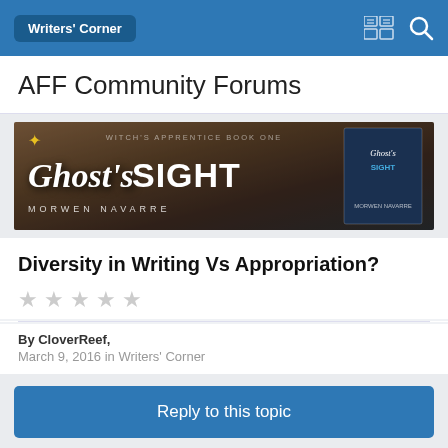Writers' Corner
AFF Community Forums
[Figure (illustration): Banner advertisement for 'Ghost's Sight' by Morwen Navarre, Witch's Apprentice Book One. Dark atmospheric background with large stylized title text and a book cover image on the right.]
Diversity in Writing Vs Appropriation?
By CloverReef,
March 9, 2016 in Writers' Corner
Reply to this topic